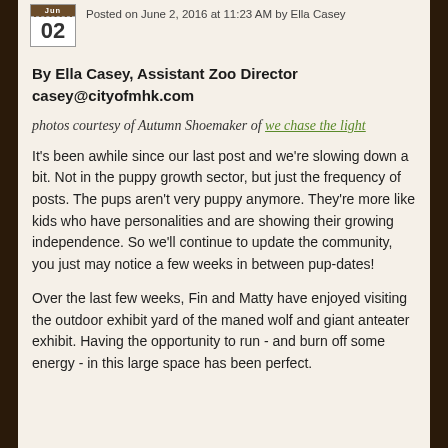Slowing Down.
Posted on June 2, 2016 at 11:23 AM by Ella Casey
By Ella Casey, Assistant Zoo Director
casey@cityofmhk.com
photos courtesy of Autumn Shoemaker of we chase the light
It's been awhile since our last post and we're slowing down a bit. Not in the puppy growth sector, but just the frequency of posts. The pups aren't very puppy anymore. They're more like kids who have personalities and are showing their growing independence. So we'll continue to update the community, you just may notice a few weeks in between pup-dates!
Over the last few weeks, Fin and Matty have enjoyed visiting the outdoor exhibit yard of the maned wolf and giant anteater exhibit. Having the opportunity to run - and burn off some energy - in this large space has been perfect.